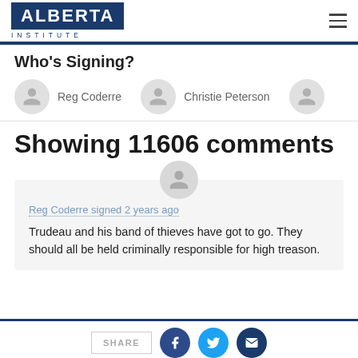[Figure (logo): Alberta Institute logo — blue rectangle with white ALBERTA text and INSTITUTE letter-spaced below]
Who's Signing?
Reg Coderre
Christie Peterson
Showing 11606 comments
Reg Coderre signed 2 years ago
Trudeau and his band of thieves have got to go. They should all be held criminally responsible for high treason.